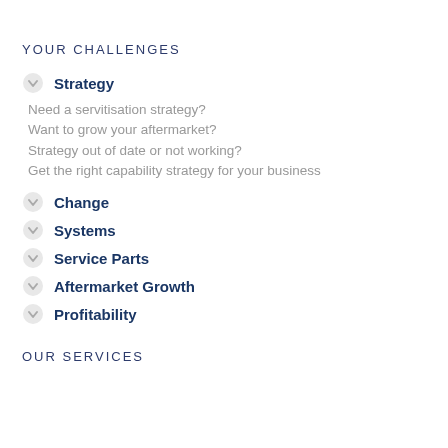YOUR CHALLENGES
Strategy
Need a servitisation strategy?
Want to grow your aftermarket?
Strategy out of date or not working?
Get the right capability strategy for your business
Change
Systems
Service Parts
Aftermarket Growth
Profitability
OUR SERVICES